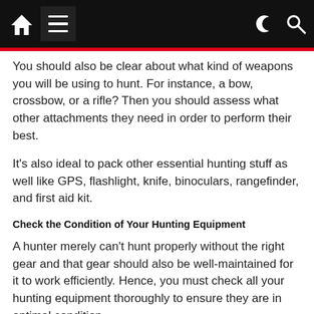Navigation bar with home icon, menu icon, dark mode and search icons
You should also be clear about what kind of weapons you will be using to hunt. For instance, a bow, crossbow, or a rifle? Then you should assess what other attachments they need in order to perform their best.
It's also ideal to pack other essential hunting stuff as well like GPS, flashlight, knife, binoculars, rangefinder, and first aid kit.
Check the Condition of Your Hunting Equipment
A hunter merely can't hunt properly without the right gear and that gear should also be well-maintained for it to work efficiently. Hence, you must check all your hunting equipment thoroughly to ensure they are in optimal condition.